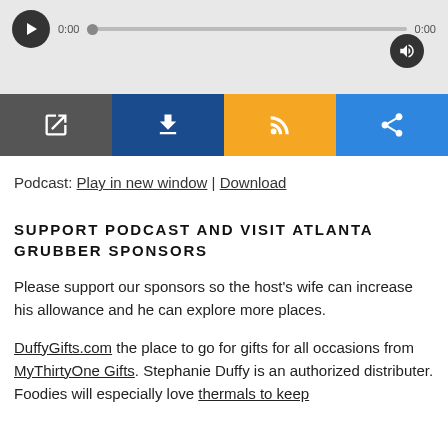[Figure (screenshot): Audio podcast player widget with play button, progress bar showing 0:00, volume button, and four control buttons: open in new window (dark gray), download (dark blue), RSS feed (orange), share (light blue)]
Podcast: Play in new window | Download
SUPPORT PODCAST AND VISIT ATLANTA GRUBBER SPONSORS
Please support our sponsors so the host's wife can increase his allowance and he can explore more places.
DuffyGifts.com the place to go for gifts for all occasions from MyThirtyOne Gifts. Stephanie Duffy is an authorized distributer. Foodies will especially love thermals to keep food warm and lots more!